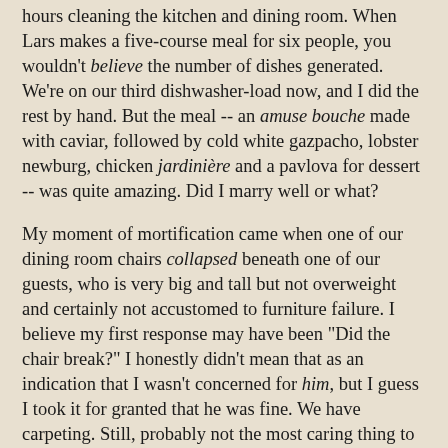hours cleaning the kitchen and dining room. When Lars makes a five-course meal for six people, you wouldn't believe the number of dishes generated. We're on our third dishwasher-load now, and I did the rest by hand. But the meal -- an amuse bouche made with caviar, followed by cold white gazpacho, lobster newburg, chicken jardinière and a pavlova for dessert -- was quite amazing. Did I marry well or what?
My moment of mortification came when one of our dining room chairs collapsed beneath one of our guests, who is very big and tall but not overweight and certainly not accustomed to furniture failure. I believe my first response may have been "Did the chair break?" I honestly didn't mean that as an indication that I wasn't concerned for him, but I guess I took it for granted that he was fine. We have carpeting. Still, probably not the most caring thing to say!
So now one of my summer projects will be chair repair. Fortunately, the chair seems OK -- the joints simply became unglued, and I know exactly why this happened. We took the chair into the backyard at the beginning of the evening, and it sat on uneven ground, which, beneath our tall guest, led to